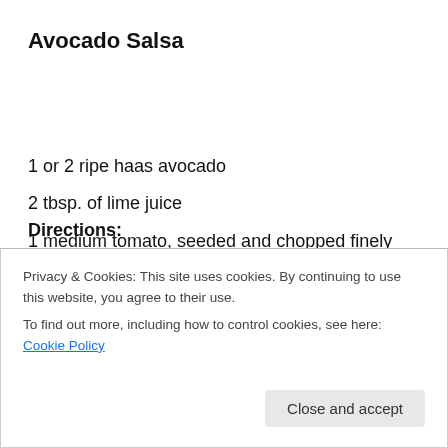Avocado Salsa
1 or 2 ripe haas avocado
2 tbsp. of lime juice
1 medium tomato, seeded and chopped finely
2-3 tbsp. of finely chopped white onion
1 minced garlic clove
1 large handful of cilantro, chopped finely
Directions:
Privacy & Cookies: This site uses cookies. By continuing to use this website, you agree to their use.
To find out more, including how to control cookies, see here: Cookie Policy